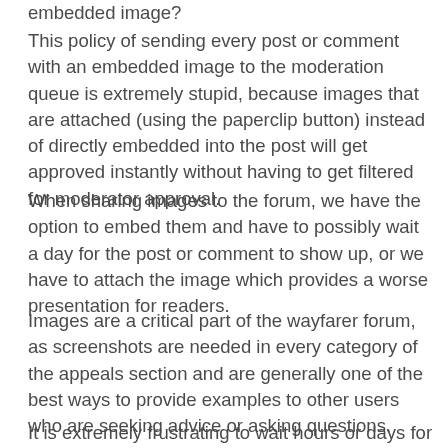embedded image?
This policy of sending every post or comment with an embedded image to the moderation queue is extremely stupid, because images that are attached (using the paperclip button) instead of directly embedded into the post will get approved instantly without having to get filtered for moderator approval.
When sharing images to the forum, we have the option to embed them and have to possibly wait a day for the post or comment to show up, or we have to attach the image which provides a worse presentation for readers.
Images are a critical part of the wayfarer forum, as screenshots are needed in every category of the appeals section and are generally one of the best ways to provide examples to other users who are seeking advice or asking questions.
It is extremely frustrating to wait hours or days for a simple post or comment to show up, and especially...